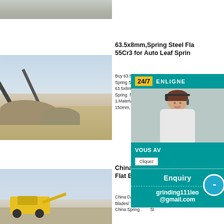[Figure (photo): Partial top photo showing rocks/aggregate material]
[Figure (photo): Mining/quarry crushing plant with conveyor belt and rock piles]
63.5x8mm,Spring Steel Flat Bar 55Cr3 for Auto Leaf Spring
Buy 63.5x8mm,Spring Steel Flat Bar 55Cr3 for Auto Leaf Spring Spring Springflat Spring Flat Steel 63.5x8mm,Sp...55Cr3 Spring featu... Flat 1.Material:55c... -50 150mm, 4Cem...
[Figure (photo): Yellow heavy machinery/excavator at mining site]
China Daqia... ori Flat Bar f... es
China Daqiam... Flat Blades/ Tiller ... Fi China Spring... St